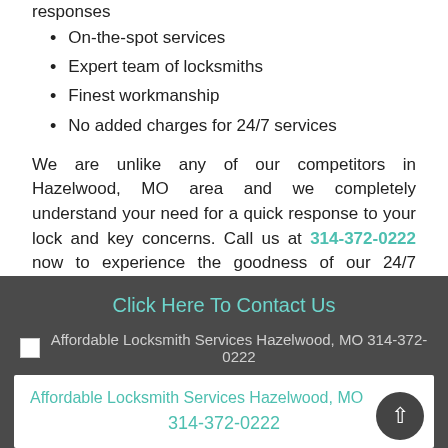responses
On-the-spot services
Expert team of locksmiths
Finest workmanship
No added charges for 24/7 services
We are unlike any of our competitors in Hazelwood, MO area and we completely understand your need for a quick response to your lock and key concerns. Call us at 314-372-0222 now to experience the goodness of our 24/7 emergency locksmith services!
Click Here To Contact Us
[Figure (other): Broken image placeholder for Affordable Locksmith Services Hazelwood, MO 314-372-0222]
Affordable Locksmith Services Hazelwood, MO
314-372-0222